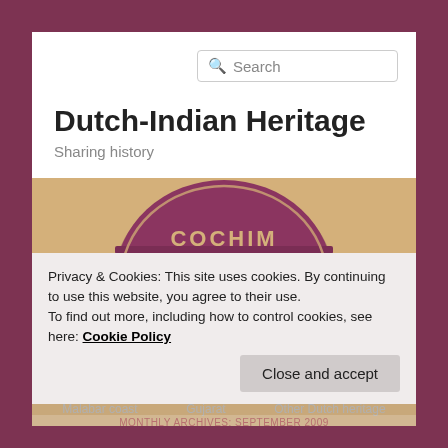Dutch-Indian Heritage
Sharing history
[Figure (photo): Circular medallion plaque reading 'COCHIM LASARUS HUYS A:O 1728' in decorative lettering on a dark red/mauve background, mounted on a light wall]
Privacy & Cookies: This site uses cookies. By continuing to use this website, you agree to their use.
To find out more, including how to control cookies, see here: Cookie Policy
Close and accept
MONTHLY ARCHIVES: SEPTEMBER 2009